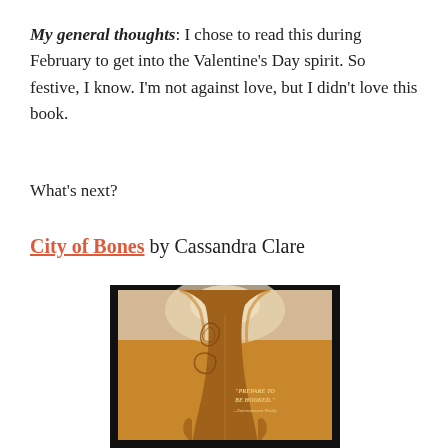My general thoughts: I chose to read this during February to get into the Valentine's Day spirit. So festive, I know. I'm not against love, but I didn't love this book.
What's next?
City of Bones by Cassandra Clare
[Figure (photo): Book cover of City of Bones by Cassandra Clare, showing a tattooed male figure from the back with text 'PREPARE TO BE HOOKED.' — Entertainment Weekly]